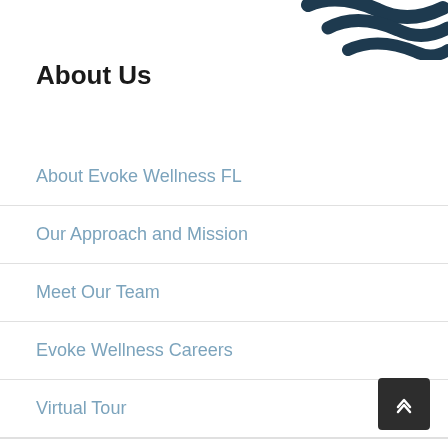[Figure (logo): Partial view of Evoke Wellness logo — dark navy stylized wave/swoosh marks visible in upper right corner]
About Us
About Evoke Wellness FL
Our Approach and Mission
Meet Our Team
Evoke Wellness Careers
Virtual Tour